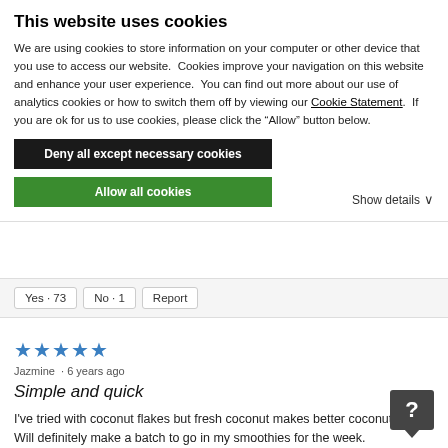This website uses cookies
We are using cookies to store information on your computer or other device that you use to access our website.  Cookies improve your navigation on this website and enhance your user experience.  You can find out more about our use of analytics cookies or how to switch them off by viewing our Cookie Statement.  If you are ok for us to use cookies, please click the “Allow” button below.
Deny all except necessary cookies
Allow all cookies
Show details
Yes · 73   No · 1   Report
★★★★★
Jazmine  · 6 years ago
Simple and quick
I've tried with coconut flakes but fresh coconut makes better coconut milk. Will definitely make a batch to go in my smoothies for the week.